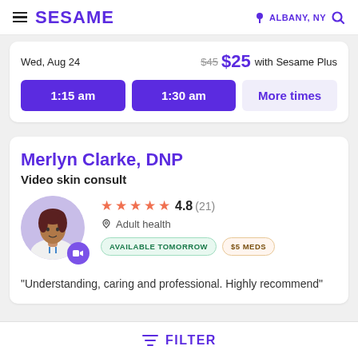SESAME | ALBANY, NY
Wed, Aug 24  $45  $25 with Sesame Plus
1:15 am  1:30 am  More times
Merlyn Clarke, DNP
Video skin consult
★★★★★ 4.8 (21)
Adult health
AVAILABLE TOMORROW  $5 MEDS
"Understanding, caring and professional. Highly recommend"
FILTER